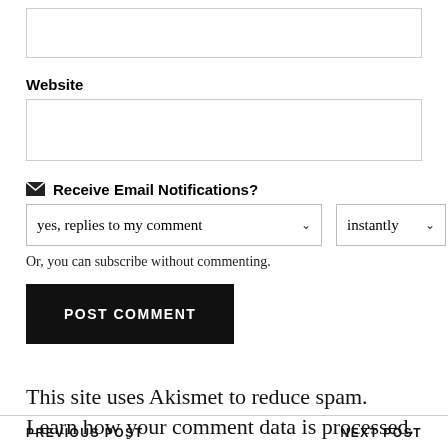[Figure (other): Empty text input box (top of page)]
Website
[Figure (other): Website URL text input box]
✉ Receive Email Notifications?
[Figure (other): Dropdown selects: 'yes, replies to my comment' and 'instantly']
Or, you can subscribe without commenting.
[Figure (other): POST COMMENT button (black background, white text)]
This site uses Akismet to reduce spam. Learn how your comment data is processed.
PREVIOUS POST    NEXT POST